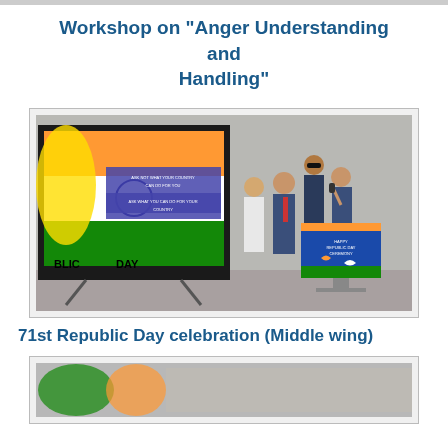Workshop on “Anger Understanding and Handling”
[Figure (photo): Students in school uniforms standing at a podium during Republic Day celebration. A large board showing the Indian flag design with text 'ASK NOT WHAT YOUR COUNTRY CAN DO FOR YOU, ASK WHAT YOU CAN DO FOR YOUR COUNTRY' and 'BLIC DAY' visible. A decorated podium with 'HAPPY REPUBLIC DAY CEREMONY' text and bird/dove motifs.]
71st Republic Day celebration (Middle wing)
[Figure (photo): Partial view of another Republic Day celebration image at the bottom of the page.]